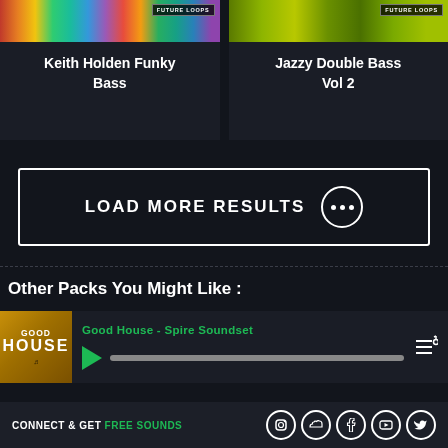[Figure (screenshot): Two product cards at top: 'Keith Holden Funky Bass' with colorful striped image and Future Loops badge, and 'Jazzy Double Bass Vol 2' with green toned image and Future Loops badge]
Keith Holden Funky Bass
Jazzy Double Bass Vol 2
LOAD MORE RESULTS
Other Packs You Might Like :
Good House - Spire Soundset
CONNECT & GET FREE SOUNDS